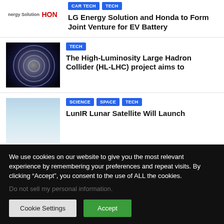CAR TECH | TECH — LG Energy Solution and Honda to Form Joint Venture for EV Battery
TECH — The High-Luminosity Large Hadron Collider (HL-LHC) project aims to
SCIENCE | SPACE | TECH — LunIR Lunar Satellite Will Launch
We use cookies on our website to give you the most relevant experience by remembering your preferences and repeat visits. By clicking “Accept”, you consent to the use of ALL the cookies.
Do not sell my personal information.